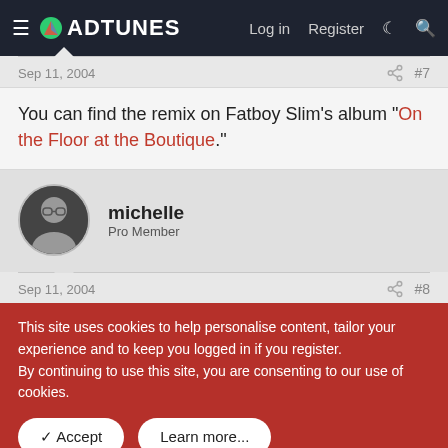ADTUNES — Log in | Register
Sep 11, 2004  #7
You can find the remix on Fatboy Slim's album "On the Floor at the Boutique."
michelle
Pro Member
Sep 11, 2004  #8
This site uses cookies to help personalise content, tailor your experience and to keep you logged in if you register.
By continuing to use this site, you are consenting to our use of cookies.